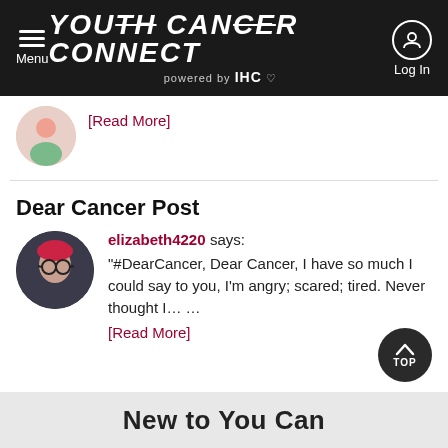Youth Cancer Connect powered by IHC
[Read More]
Dear Cancer Post
elizabeth4220 says: "#DearCancer, Dear Cancer, I have so much I could say to you, I'm angry; scared; tired. Never thought I... ...
[Read More]
New to You Can